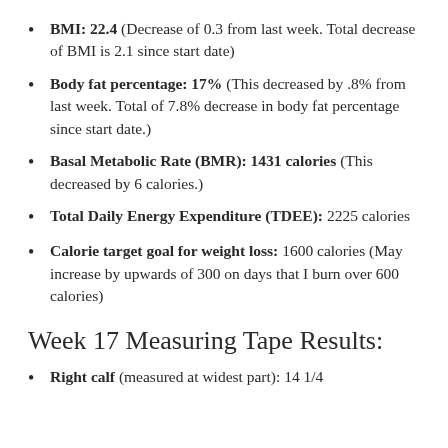BMI: 22.4 (Decrease of 0.3 from last week. Total decrease of BMI is 2.1 since start date)
Body fat percentage: 17% (This decreased by .8% from last week. Total of 7.8% decrease in body fat percentage since start date.)
Basal Metabolic Rate (BMR): 1431 calories (This decreased by 6 calories.)
Total Daily Energy Expenditure (TDEE): 2225 calories
Calorie target goal for weight loss: 1600 calories (May increase by upwards of 300 on days that I burn over 600 calories)
Week 17 Measuring Tape Results:
Right calf (measured at widest part): 14 1/4